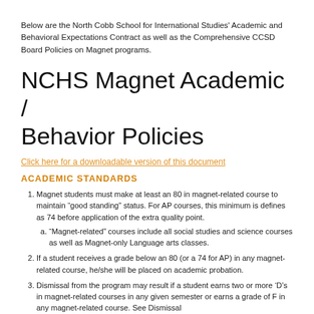Below are the North Cobb School for International Studies' Academic and Behavioral Expectations Contract as well as the Comprehensive CCSD Board Policies on Magnet programs.
NCHS Magnet Academic / Behavior Policies
Click here for a downloadable version of this document
ACADEMIC STANDARDS
Magnet students must make at least an 80 in magnet-related course to maintain “good standing” status. For AP courses, this minimum is defines as 74 before application of the extra quality point.
a. “Magnet-related” courses include all social studies and science courses as well as Magnet-only Language arts classes.
If a student receives a grade below an 80 (or a 74 for AP) in any magnet-related course, he/she will be placed on academic probation.
Dismissal from the program may result if a student earns two or more ‘D’s in magnet-related courses in any given semester or earns a grade of F in any magnet-related course. See Dismissal